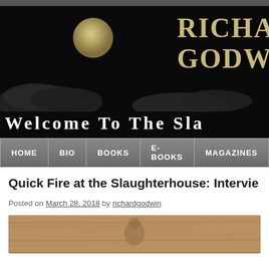[Figure (screenshot): Website header banner with dark moody background showing a full moon, dark clouds, text 'RICHARD GODWIN' in gold serif font and 'WELCOME TO THE SLA...' at the bottom in white serif caps]
HOME | BIO | BOOKS | E-BOOKS | MAGAZINES
Quick Fire at the Slaughterhouse: Intervie...
Posted on March 28, 2018 by richardgodwin
[Figure (photo): Partial view of a photo at the bottom of the page, showing a wooden surface and what appears to be a person]